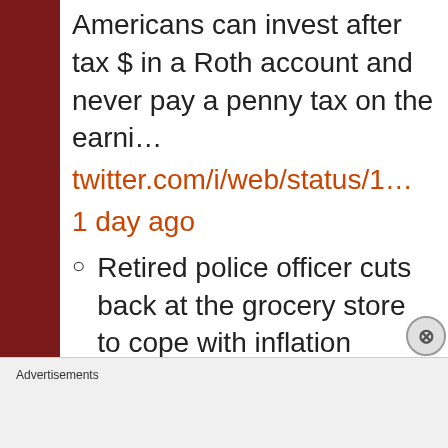Americans can invest after tax $ in a Roth account and never pay a penny tax on the earni…
twitter.com/i/web/status/1…
1 day ago
Retired police officer cuts back at the grocery store to cope with inflation
quinnscommentary.net/2022/09/0
Advertisements